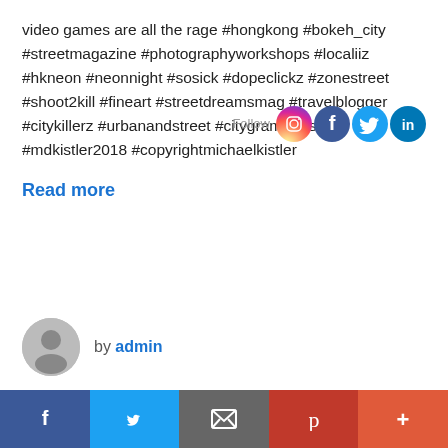video games are all the rage #hongkong #bokeh_city #streetmagazine #photographyworkshops #localiiz #hkneon #neonnight #sosick #dopeclickz #zonestreet #shoot2kill #fineart #streetdreamsmag #travelblogger #citykillerz #urbanandstreet #citygrammers #mdkistler2018 #copyrightmichaelkistler
Read more
by admin
[Figure (infographic): Social media share bar at bottom with Facebook, Twitter, Email, Pinterest, and More buttons]